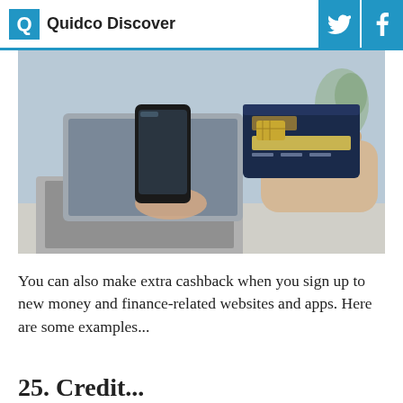Quidco Discover
[Figure (photo): Person holding a smartphone in one hand and a credit card in the other hand, with a laptop visible in the background on a desk.]
You can also make extra cashback when you sign up to new money and finance-related websites and apps. Here are some examples...
25. Credit...